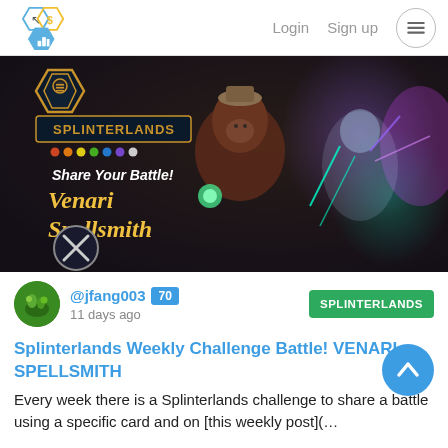Login  Sign up
[Figure (illustration): Splinterlands game banner showing 'Share Your Battle! Venari Spellsmith' text with fantasy character artwork — an anthropomorphic boar warrior and a glowing skeletal mage figure on a dark background with the Splinterlands logo.]
@jfang003 70  11 days ago  SPLINTERLANDS
Splinterlands Weekly Challenge Battle! VENARI SPELLSMITH
Every week there is a Splinterlands challenge to share a battle using a specific card and on [this weekly post](…